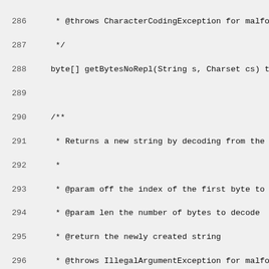Code listing lines 286-314, showing Java interface methods: getBytesNoRepl, newStringUTF8NoRepl, getBytesUTF8NoRepl, and setCause with Javadoc comments.